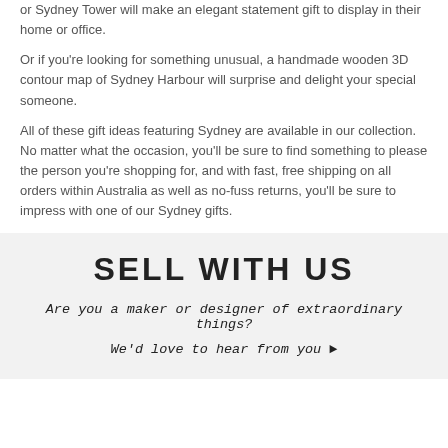or Sydney Tower will make an elegant statement gift to display in their home or office.
Or if you're looking for something unusual, a handmade wooden 3D contour map of Sydney Harbour will surprise and delight your special someone.
All of these gift ideas featuring Sydney are available in our collection. No matter what the occasion, you'll be sure to find something to please the person you're shopping for, and with fast, free shipping on all orders within Australia as well as no-fuss returns, you'll be sure to impress with one of our Sydney gifts.
SELL WITH US
Are you a maker or designer of extraordinary things?
We'd love to hear from you ▶